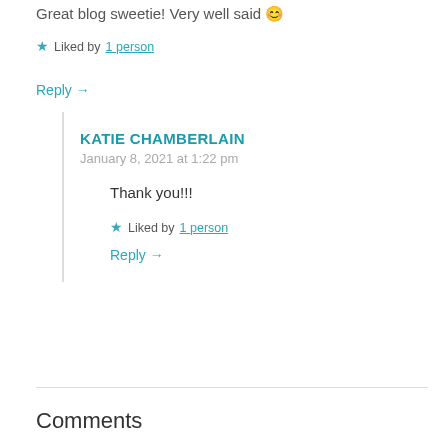Great blog sweetie! Very well said 😊
★ Liked by 1 person
Reply →
KATIE CHAMBERLAIN
January 8, 2021 at 1:22 pm
Thank you!!!
★ Liked by 1 person
Reply →
Comments